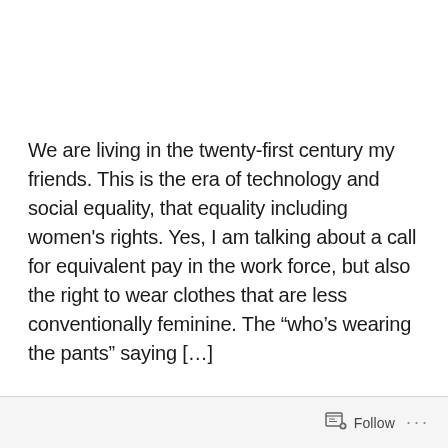We are living in the twenty-first century my friends. This is the era of technology and social equality, that equality including women's rights. Yes, I am talking about a call for equivalent pay in the work force, but also the right to wear clothes that are less conventionally feminine. The “who’s wearing the pants” saying […]
Follow ···